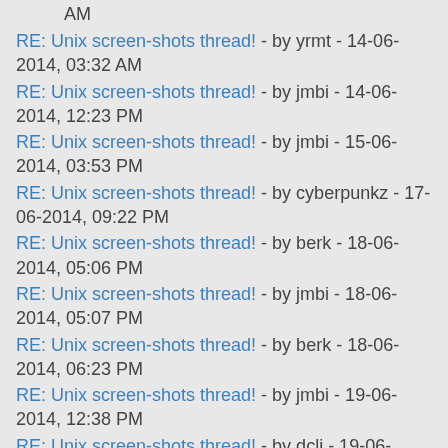AM
RE: Unix screen-shots thread! - by yrmt - 14-06-2014, 03:32 AM
RE: Unix screen-shots thread! - by jmbi - 14-06-2014, 12:23 PM
RE: Unix screen-shots thread! - by jmbi - 15-06-2014, 03:53 PM
RE: Unix screen-shots thread! - by cyberpunkz - 17-06-2014, 09:22 PM
RE: Unix screen-shots thread! - by berk - 18-06-2014, 05:06 PM
RE: Unix screen-shots thread! - by jmbi - 18-06-2014, 05:07 PM
RE: Unix screen-shots thread! - by berk - 18-06-2014, 06:23 PM
RE: Unix screen-shots thread! - by jmbi - 19-06-2014, 12:38 PM
RE: Unix screen-shots thread! - by dcli - 19-06-2014, 08:42 PM
RE: Unix screen-shots thread! - by jmbi - 19-06-2014, 11:18 PM
RE: Unix screen-shots thread! - by jolia - 20-06-2014, 11:05 AM
RE: Unix screen-shots thread! - by dcli - 20-06-2014, 11:57 PM
RE: Unix screen-shots thread! - by dkeg - 21-06-2014, 10:11 AM
RE: Unix screen-shots thread! - by kirby - 22-06-2014, 10:04 AM